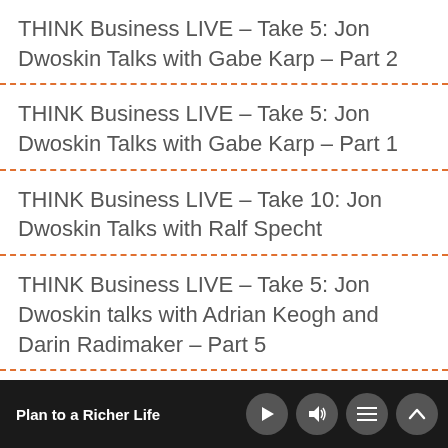THINK Business LIVE – Take 5: Jon Dwoskin Talks with Gabe Karp – Part 2
THINK Business LIVE – Take 5: Jon Dwoskin Talks with Gabe Karp – Part 1
THINK Business LIVE – Take 10: Jon Dwoskin Talks with Ralf Specht
THINK Business LIVE – Take 5: Jon Dwoskin talks with Adrian Keogh and Darin Radimaker – Part 5
THINK Business LIVE – Take 5: Jon
Plan to a Richer Life